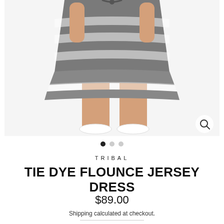[Figure (photo): Product photo of a girl wearing a grey and white tie-dye flounce jersey dress with white sneakers, shown from waist down, on a white background. A zoom/search icon appears in the bottom-right corner.]
• • •
TRIBAL
TIE DYE FLOUNCE JERSEY DRESS
$89.00
Shipping calculated at checkout.